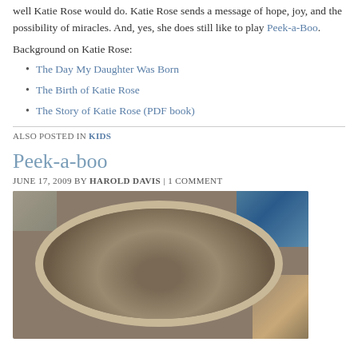well Katie Rose would do. Katie Rose sends a message of hope, joy, and the possibility of miracles. And, yes, she does still like to play Peek-a-Boo.
Background on Katie Rose:
The Day My Daughter Was Born
The Birth of Katie Rose
The Story of Katie Rose (PDF book)
ALSO POSTED IN KIDS
Peek-a-boo
JUNE 17, 2009 BY HAROLD DAVIS | 1 COMMENT
[Figure (photo): Close-up photo of a circular bag opening showing the inside of a fabric bag with decorative border trim, photographed from above]